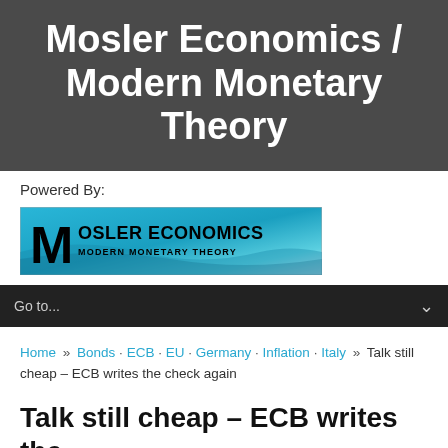Mosler Economics / Modern Monetary Theory
Powered By:
[Figure (logo): Mosler Economics Modern Monetary Theory logo with blue wave background and bold black text]
Go to...
Home » Bonds · ECB · EU · Germany · Inflation · Italy » Talk still cheap – ECB writes the check again
Talk still cheap – ECB writes the check again